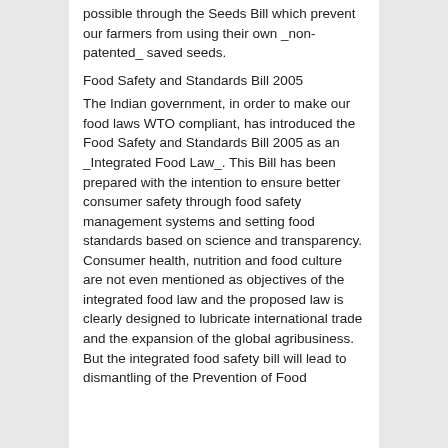possible through the Seeds Bill which prevent our farmers from using their own _non-patented_ saved seeds.
Food Safety and Standards Bill 2005
The Indian government, in order to make our food laws WTO compliant, has introduced the Food Safety and Standards Bill 2005 as an _Integrated Food Law_. This Bill has been prepared with the intention to ensure better consumer safety through food safety management systems and setting food standards based on science and transparency. Consumer health, nutrition and food culture are not even mentioned as objectives of the integrated food law and the proposed law is clearly designed to lubricate international trade and the expansion of the global agribusiness. But the integrated food safety bill will lead to dismantling of the Prevention of Food